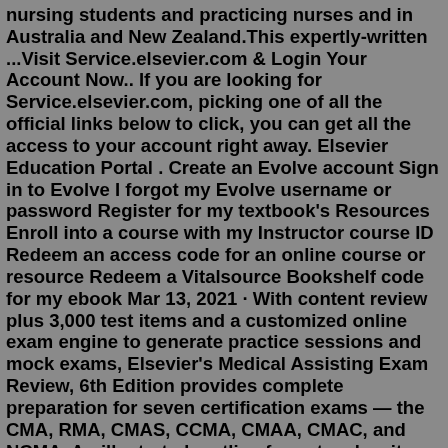nursing students and practicing nurses and in Australia and New Zealand.This expertly-written ...Visit Service.elsevier.com & Login Your Account Now.. If you are looking for Service.elsevier.com, picking one of all the official links below to click, you can get all the access to your account right away. Elsevier Education Portal . Create an Evolve account Sign in to Evolve I forgot my Evolve username or password Register for my textbook's Resources Enroll into a course with my Instructor course ID Redeem an access code for an online course or resource Redeem a Vitalsource Bookshelf code for my ebook Mar 13, 2021 · With content review plus 3,000 test items and a customized online exam engine to generate practice sessions and mock exams, Elsevier's Medical Assisting Exam Review, 6th Edition provides complete preparation for seven certification exams — the CMA, RMA, CMAS, CCMA, CMAA, CMAC, and NCMA. An illustrated, outline format makes it easy to review ... Evolve is the convenient online destination for nursing and health professions